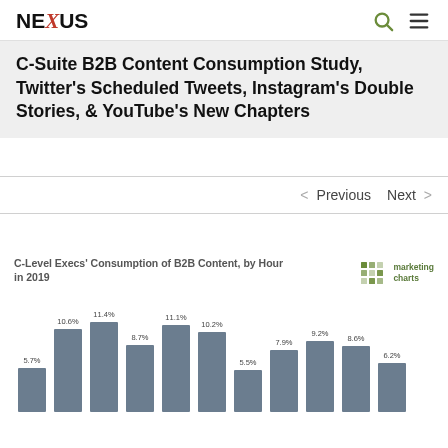NEXUS
C-Suite B2B Content Consumption Study, Twitter's Scheduled Tweets, Instagram's Double Stories, & YouTube's New Chapters
< Previous   Next >
[Figure (bar-chart): C-Level Execs' Consumption of B2B Content, by Hour in 2019]